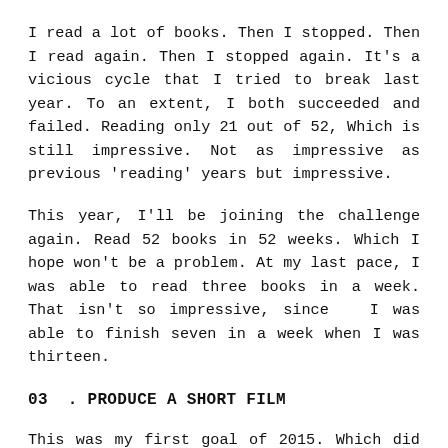I read a lot of books. Then I stopped. Then I read again. Then I stopped again. It's a vicious cycle that I tried to break last year. To an extent, I both succeeded and failed. Reading only 21 out of 52, Which is still impressive. Not as impressive as previous 'reading' years but impressive.
This year, I'll be joining the challenge again. Read 52 books in 52 weeks. Which I hope won't be a problem. At my last pace, I was able to read three books in a week. That isn't so impressive, since  I was able to finish seven in a week when I was thirteen.
03  . PRODUCE A SHORT FILM
This was my first goal of 2015. Which did not happen. I wanted to though, but as I said in my 2015 Resolutions, writer's block is my greatest enemy. No...